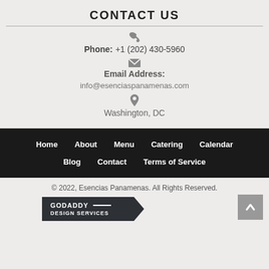CONTACT US
Phone: +1 (202) 430-5960
Email Address:
info@esenciaspanamenas.com
Washington, DC
Home   About   Menu   Catering   Calendar   Blog   Contact   Terms of Service
© 2022, Esencias Panamenas. All Rights Reserved.